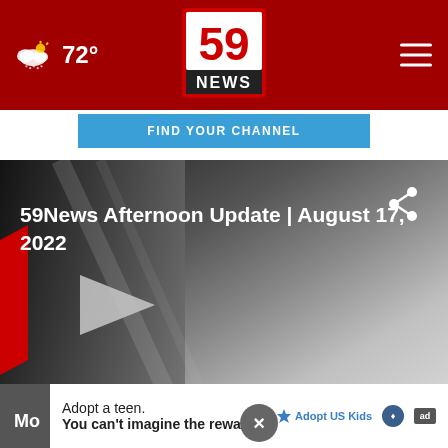72° — 59 NEWS header with weather and navigation
FIND YOUR CHANNEL
[Figure (screenshot): 59News Afternoon Update video thumbnail with play button, dated August 17, 2022. Dark gradient background with red stripe on left. Share icon top right.]
59News Afternoon Update | August 17, 2022
Mo...
Adopt a teen. You can't imagine the reward.